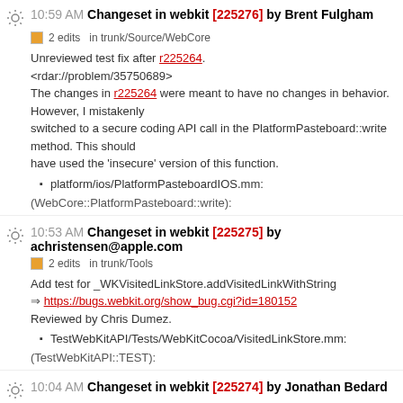10:59 AM Changeset in webkit [225276] by Brent Fulgham
2 edits in trunk/Source/WebCore
Unreviewed test fix after r225264.
<rdar://problem/35750689>
The changes in r225264 were meant to have no changes in behavior. However, I mistakenly switched to a secure coding API call in the PlatformPasteboard::write method. This should have used the 'insecure' version of this function.
platform/ios/PlatformPasteboardIOS.mm:
(WebCore::PlatformPasteboard::write):
10:53 AM Changeset in webkit [225275] by achristensen@apple.com
2 edits in trunk/Tools
Add test for _WKVisitedLinkStore.addVisitedLinkWithString
https://bugs.webkit.org/show_bug.cgi?id=180152
Reviewed by Chris Dumez.
TestWebKitAPI/Tests/WebKitCocoa/VisitedLinkStore.mm:
(TestWebKitAPI::TEST):
10:04 AM Changeset in webkit [225274] by Jonathan Bedard
3 edits in trunk/Tools